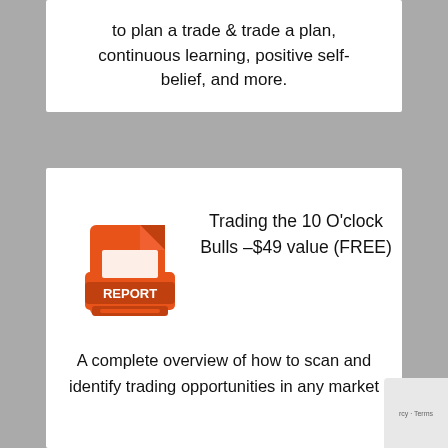to plan a trade & trade a plan, continuous learning, positive self-belief, and more.
[Figure (illustration): Orange report/document icon with 'REPORT' label on a folder-like graphic]
Trading the 10 O'clock Bulls –$49 value (FREE)
A complete overview of how to scan and identify trading opportunities in any market